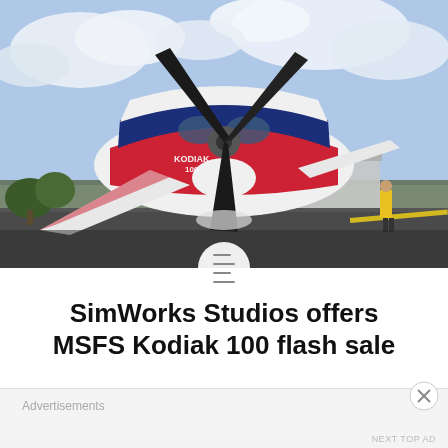[Figure (photo): A Kodiak 100 aircraft on a tarmac apron, viewed from the front-left. The plane has a white, red, and blue paint scheme with 'KODIAK 100' lettering on the fuselage. The large three-blade propeller is prominent in the foreground. A person in a yellow safety vest stands in the background to the right. Green trees and a grey hangar structure are visible, under a partly cloudy sky.]
SimWorks Studios offers MSFS Kodiak 100 flash sale
Advertisements